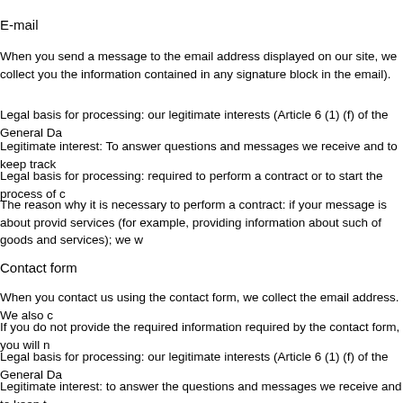E-mail
When you send a message to the email address displayed on our site, we collect you the information contained in any signature block in the email).
Legal basis for processing: our legitimate interests (Article 6 (1) (f) of the General Da
Legitimate interest: To answer questions and messages we receive and to keep track
Legal basis for processing: required to perform a contract or to start the process of c
The reason why it is necessary to perform a contract: if your message is about provid services (for example, providing information about such of goods and services); we w
Contact form
When you contact us using the contact form, we collect the email address. We also c
If you do not provide the required information required by the contact form, you will n
Legal basis for processing: our legitimate interests (Article 6 (1) (f) of the General Da
Legitimate interest: to answer the questions and messages we receive and to keep t
Legal basis for the processing: it is necessary to perform a contract or to start the pr